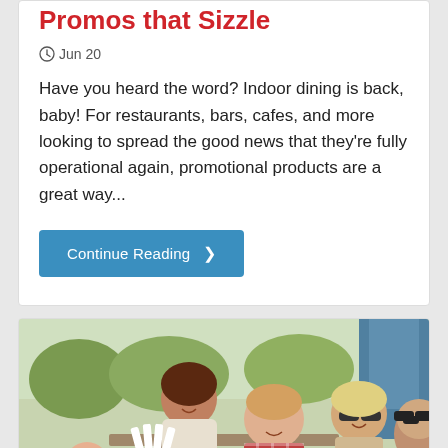Promos that Sizzle
Jun 20
Have you heard the word? Indoor dining is back, baby! For restaurants, bars, cafes, and more looking to spread the good news that they're fully operational again, promotional products are a great way...
Continue Reading >
[Figure (photo): Group of young adults smiling and playing cards outdoors]